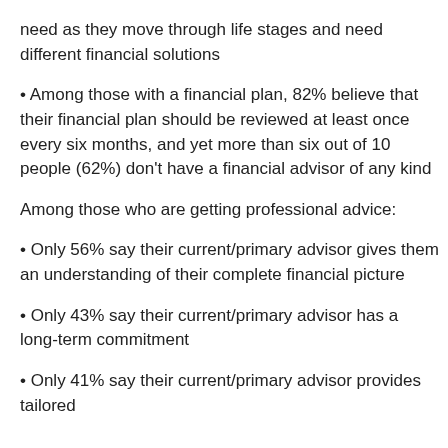need as they move through life stages and need different financial solutions
• Among those with a financial plan, 82% believe that their financial plan should be reviewed at least once every six months, and yet more than six out of 10 people (62%) don't have a financial advisor of any kind
Among those who are getting professional advice:
• Only 56% say their current/primary advisor gives them an understanding of their complete financial picture
• Only 43% say their current/primary advisor has a long-term commitment
• Only 41% say their current/primary advisor provides tailored